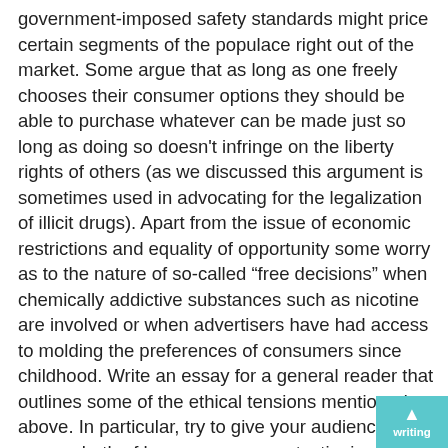government-imposed safety standards might price certain segments of the populace right out of the market. Some argue that as long as one freely chooses their consumer options they should be able to purchase whatever can be made just so long as doing so doesn't infringe on the liberty rights of others (as we discussed this argument is sometimes used in advocating for the legalization of illicit drugs). Apart from the issue of economic restrictions and equality of opportunity some worry as to the nature of so-called “free decisions” when chemically addictive substances such as nicotine are involved or when advertisers have had access to molding the preferences of consumers since childhood. Write an essay for a general reader that outlines some of the ethical tensions mentioned above. In particular, try to give your audience senses both of how consumer protectionism and consumer choice can seem like good ideas and how they can be in conflict with one another. Make sure the reader can follow the underlying ethical principles behind these two views and what your ultimate position on the matter is and why. Some brief hints on writingThough writing styles can differ quite a bit I find it extremely helpful to guide